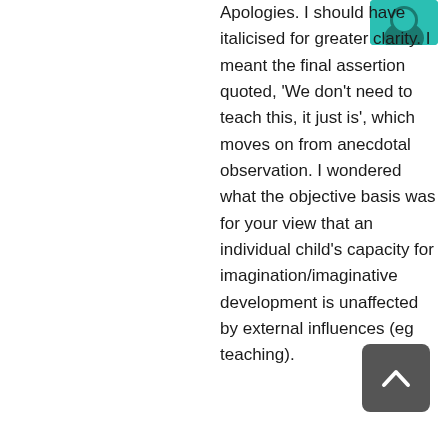[Figure (illustration): Avatar image with teal/green background, partially visible at top right]
Apologies. I should have italicised for greater clarity. I meant the final assertion quoted, 'We don't need to teach this, it just is', which moves on from anecdotal observation. I wondered what the objective basis was for your view that an individual child's capacity for imagination/imaginative development is unaffected by external influences (eg teaching).
[Figure (other): Dark grey scroll-to-top button with upward chevron arrow, overlaying the text]